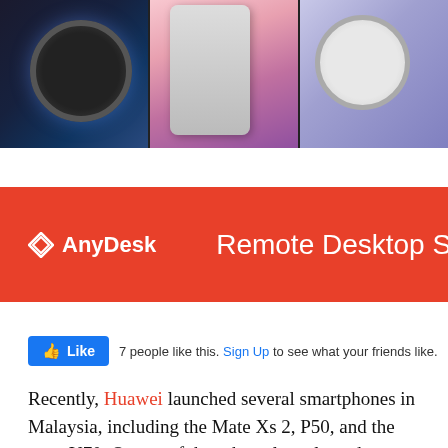[Figure (photo): Three-panel photo strip showing Huawei devices: left panel shows a smartwatch with dark blue background, center panel shows a foldable phone/tablet in pink-purple tones, right panel shows a round smartwatch with metallic band on a light purple background.]
[Figure (screenshot): AnyDesk advertisement banner with red background. Left side shows AnyDesk logo (double chevron diamond shape) and text 'AnyDesk'. Right side shows partial text 'Remote Desktop So' in white.]
7 people like this. Sign Up to see what your friends like.
Recently, Huawei launched several smartphones in Malaysia, including the Mate Xs 2, P50, and the nova Y70. On top of that, they also released several